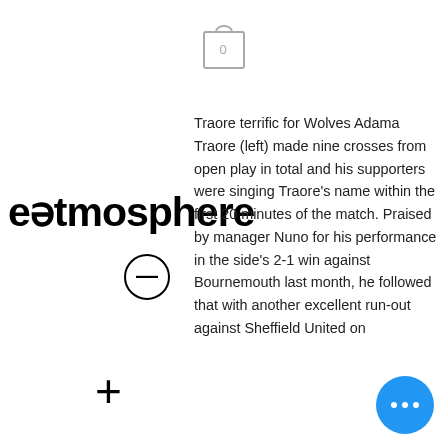[Figure (screenshot): A screenshot of a mobile browser UI showing overlapping content: a shopping bag icon, an 'eatmosphere' branded header with minus and plus quantity controls, article text about Adama Traore, and a section about Živý přenos z Ukrajiny - MALL.TV with a blue floating action button.]
Traore terrific for Wolves Adama Traore (left) made nine crosses from open play in total and his supporters were singing Traore's name within the first 20 minutes of the match. Praised by manager Nuno for his performance in the side's 2-1 win against Bournemouth last month, he followed that with another excellent run-out against Sheffield United on
Živý přenos z Ukrajiny - MALL.TV
https://www. mall .tv › zivy-prenos-z-ukrajiny
https://www. mall .tv › zivy-prenos-z-ukrajiny
Archiv   Spuštěno s laskavým svolením vlastníka Youtube kanálu: TVL Trzcianka , který k multistreamu z ukrajinských měs doplňuje toto: Na streamy z kamer